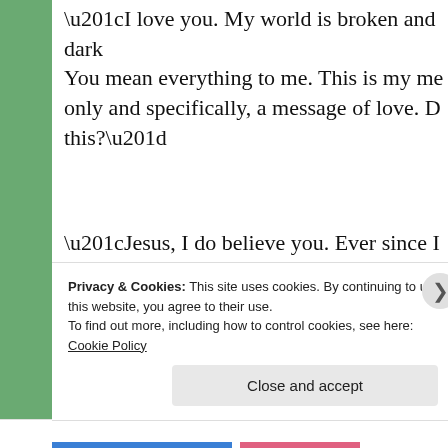“I love you. My world is broken and dark. You mean everything to me. This is my me only and specifically, a message of love. D this?”
“Jesus, I do believe you. Ever since I saw y crowds, I sensed that something was differ didn’t know how different. I just don’t kno commit to you being the Son of God.”
Privacy & Cookies: This site uses cookies. By continuing to use this website, you agree to their use.
To find out more, including how to control cookies, see here: Cookie Policy
Close and accept